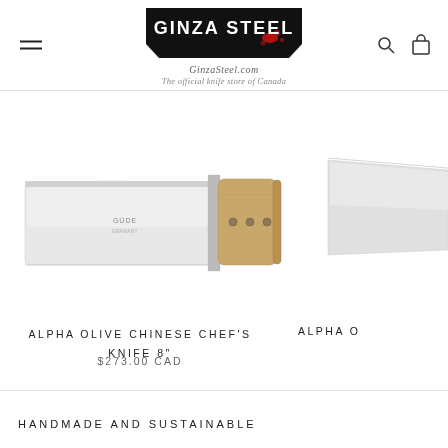Ginza Steel - GinzaSteel.com - The official knife store of Canada
[Figure (photo): Alpha Olive Chinese Chef's Knife 8 inch - a large rectangular cleaver-style knife with silver stainless steel blade and olive wood handle with three rivets, brand marked GUDE]
ALPHA OLIVE CHINESE CHEF'S KNIFE 8"
$273.00 CAD
[Figure (photo): Partial view of another Alpha knife product, cropped at right edge, showing just the blade]
ALPHA O
HANDMADE AND SUSTAINABLE